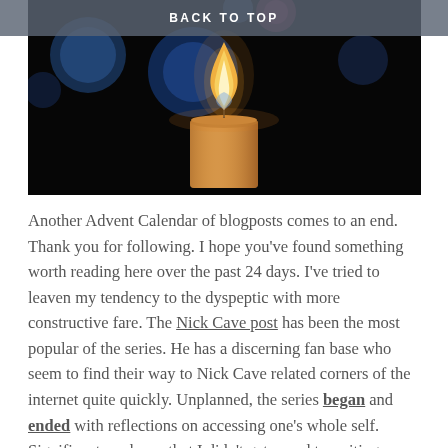BACK TO TOP
[Figure (photo): A lit candle with golden flame against a dark background with blurred bokeh light circles in blue and other colors]
Another Advent Calendar of blogposts comes to an end. Thank you for following. I hope you've found something worth reading here over the past 24 days. I've tried to leaven my tendency to the dyspeptic with more constructive fare. The Nick Cave post has been the most popular of the series. He has a discerning fan base who seem to find their way to Nick Cave related corners of the internet quite quickly. Unplanned, the series began and ended with reflections on accessing one's whole self. Significant, perhaps, that I didn't get round to writing about resources concerned with the still, the end of the